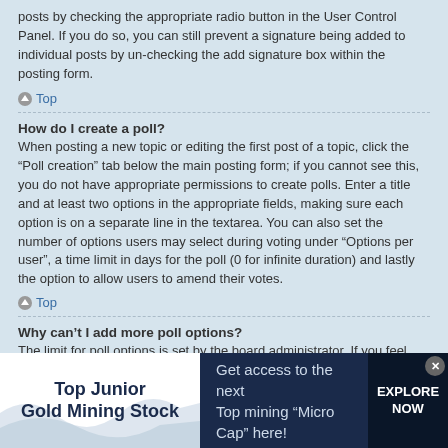posts by checking the appropriate radio button in the User Control Panel. If you do so, you can still prevent a signature being added to individual posts by un-checking the add signature box within the posting form.
Top
How do I create a poll?
When posting a new topic or editing the first post of a topic, click the “Poll creation” tab below the main posting form; if you cannot see this, you do not have appropriate permissions to create polls. Enter a title and at least two options in the appropriate fields, making sure each option is on a separate line in the textarea. You can also set the number of options users may select during voting under “Options per user”, a time limit in days for the poll (0 for infinite duration) and lastly the option to allow users to amend their votes.
Top
Why can’t I add more poll options?
The limit for poll options is set by the board administrator. If you feel you need to add more options to your poll than the allowed amount, contact the board administrator.
[Figure (infographic): Advertisement banner for Top Junior Gold Mining Stock. White left section with wave design and bold text 'Top Junior Gold Mining Stock'. Dark navy middle section with text 'Get access to the next Top mining "Micro Cap" here!'. Dark navy right button with 'EXPLORE NOW'. Close button (x) in top right corner.]